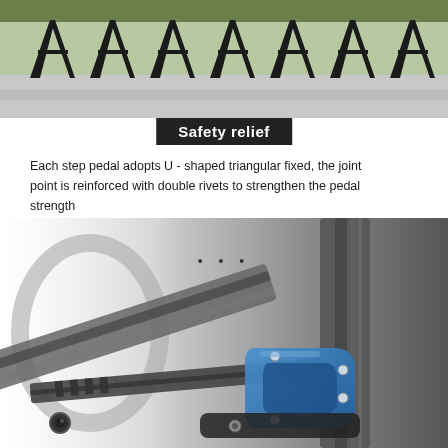[Figure (photo): Row of black A-frame ladders standing upright on a concrete surface, photographed outdoors]
Safety relief
Each step pedal adopts U - shaped triangular fixed, the joint point is reinforced with double rivets to strengthen the pedal strength
[Figure (photo): Close-up engineering detail of a ladder's step pedal joint, showing grey aluminum rails with a blue U-shaped triangular bracket fixed with double rivets]